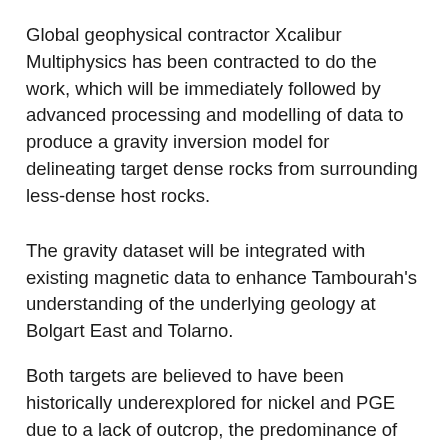Global geophysical contractor Xcalibur Multiphysics has been contracted to do the work, which will be immediately followed by advanced processing and modelling of data to produce a gravity inversion model for delineating target dense rocks from surrounding less-dense host rocks.
The gravity dataset will be integrated with existing magnetic data to enhance Tambourah's understanding of the underlying geology at Bolgart East and Tolarno.
Both targets are believed to have been historically underexplored for nickel and PGE due to a lack of outcrop, the predominance of farmland and a primary focus on gold mineralisation by past owners.
Areas of prospectivity identified by the airborne survey will be followed up with ground electromagnetic surveys and